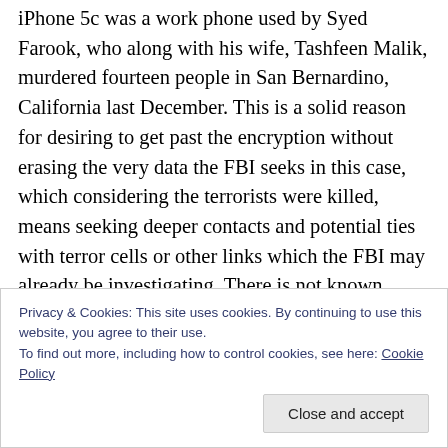iPhone 5c was a work phone used by Syed Farook, who along with his wife, Tashfeen Malik, murdered fourteen people in San Bernardino, California last December. This is a solid reason for desiring to get past the encryption without erasing the very data the FBI seeks in this case, which considering the terrorists were killed, means seeking deeper contacts and potential ties with terror cells or other links which the FBI may already be investigating. There is not known information contained in the i-phone so this is not the ticking time-bomb situation though our bet is this was part of the FBI argument that they might in the
Privacy & Cookies: This site uses cookies. By continuing to use this website, you agree to their use.
To find out more, including how to control cookies, see here: Cookie Policy
Close and accept